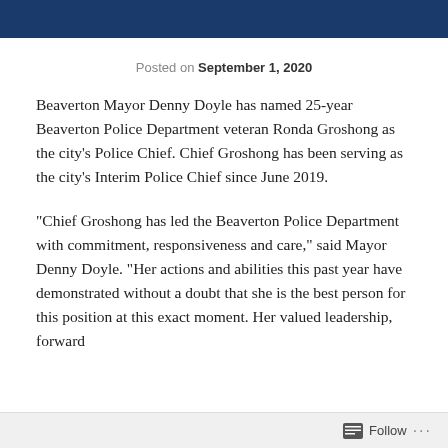Posted on September 1, 2020
Beaverton Mayor Denny Doyle has named 25-year Beaverton Police Department veteran Ronda Groshong as the city's Police Chief. Chief Groshong has been serving as the city's Interim Police Chief since June 2019.
“Chief Groshong has led the Beaverton Police Department with commitment, responsiveness and care,” said Mayor Denny Doyle. “Her actions and abilities this past year have demonstrated without a doubt that she is the best person for this position at this exact moment. Her valued leadership, forward
Follow ...